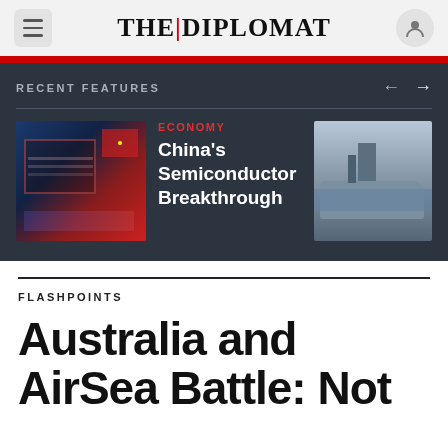THE DIPLOMAT
RECENT FEATURES
[Figure (photo): Thumbnail image of a semiconductor chip with Chinese flag overlay (red tones)]
ECONOMY
China's Semiconductor Breakthrough
[Figure (photo): Thumbnail image of a naval warship at sea]
FLASHPOINTS
Australia and AirSea Battle: Not